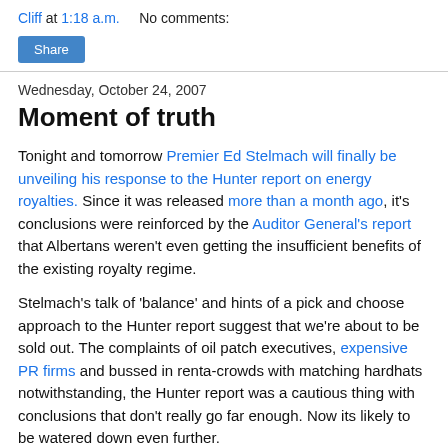Cliff at 1:18 a.m.    No comments:
Share
Wednesday, October 24, 2007
Moment of truth
Tonight and tomorrow Premier Ed Stelmach will finally be unveiling his response to the Hunter report on energy royalties. Since it was released more than a month ago, it's conclusions were reinforced by the Auditor General's report that Albertans weren't even getting the insufficient benefits of the existing royalty regime.
Stelmach's talk of 'balance' and hints of a pick and choose approach to the Hunter report suggest that we're about to be sold out. The complaints of oil patch executives, expensive PR firms and bussed in renta-crowds with matching hardhats notwithstanding, the Hunter report was a cautious thing with conclusions that don't really go far enough. Now its likely to be watered down even further.